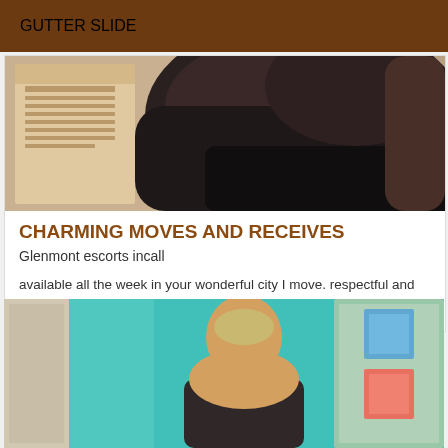GUTTER SLIDE
[Figure (photo): Close-up photo of legs and dark leather/fabric seating or bag]
CHARMING MOVES AND RECEIVES
Glenmont escorts incall
available all the week in your wonderful city I move. respectful and attentive I will make you discover an unforgettable moment with me.
[Figure (photo): Photo of a person with short blonde hair, back facing camera, in front of a teal/turquoise background]